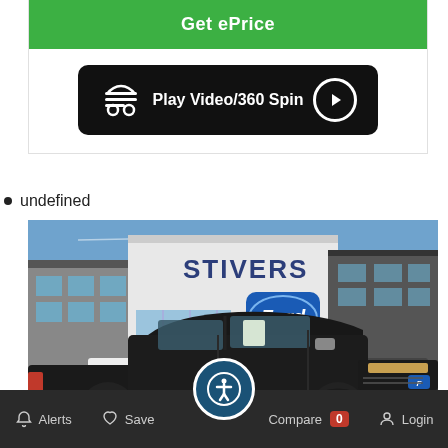[Figure (screenshot): Green 'Get ePrice' button at top of car listing page]
[Figure (screenshot): Black 'Play Video/360 Spin' button with car icon and play circle]
undefined
[Figure (photo): Photo of a black Ford F-150 pickup truck parked in front of Stivers Ford dealership under blue sky]
Alerts   Save   Compare 0   Login